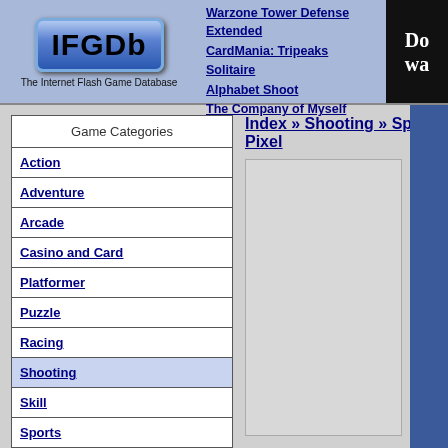[Figure (logo): IFGDb logo - blue beveled box with bold text 'IFGDb' and tagline 'The Internet Flash Game Database']
Solitaire
Warzone Tower Defense Extended
CardMania: Tripeaks Solitaire
Alphabet Shoot
The Company of Myself
[Figure (screenshot): Partial advertisement banner cropped on the right - dark background with white text 'Don wat']
Game Categories
Action
Adventure
Arcade
Casino and Card
Platformer
Puzzle
Racing
Shooting
Skill
Sports
Strategy
Word and Trivia
Index » Shooting » Space Pixel